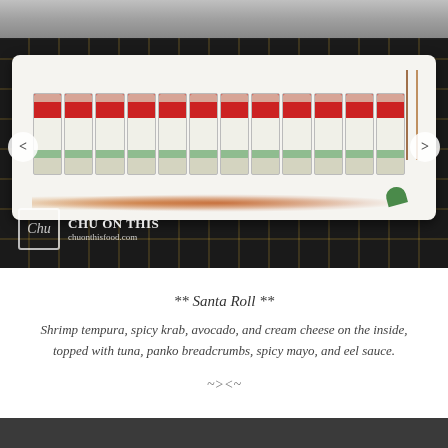[Figure (photo): Photo of a Santa Roll sushi platter on a white rectangular plate. Multiple sushi pieces topped with tuna and panko breadcrumbs are arranged in a row with sauce drizzled on the plate. Chopsticks and wasabi visible. Dark tiled surface background with stainless steel in background. Chu On This watermark with logo and chuonthisfood.com URL visible. Navigation arrows on left and right sides.]
** Santa Roll **
Shrimp tempura, spicy krab, avocado, and cream cheese on the inside, topped with tuna, panko breadcrumbs, spicy mayo, and eel sauce.
~><~